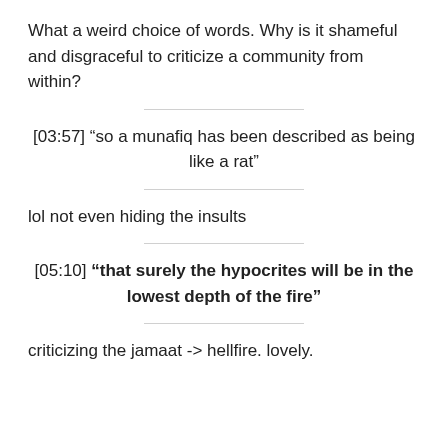What a weird choice of words. Why is it shameful and disgraceful to criticize a community from within?
[03:57] “so a munafiq has been described as being like a rat”
lol not even hiding the insults
[05:10] “that surely the hypocrites will be in the lowest depth of the fire”
criticizing the jamaat -> hellfire. lovely.